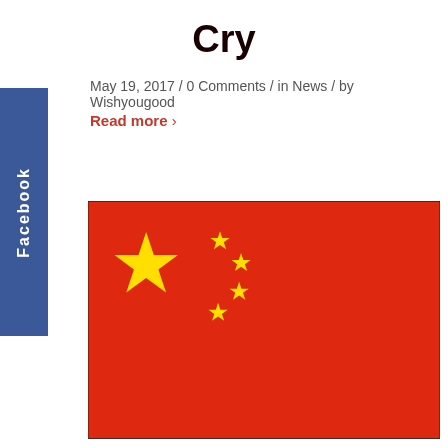Cry
May 19, 2017 / 0 Comments / in News / by Wishyougood
Read more >
[Figure (illustration): Flag of China — red background with one large yellow star in the upper left and four smaller yellow stars arranged in an arc to its right.]